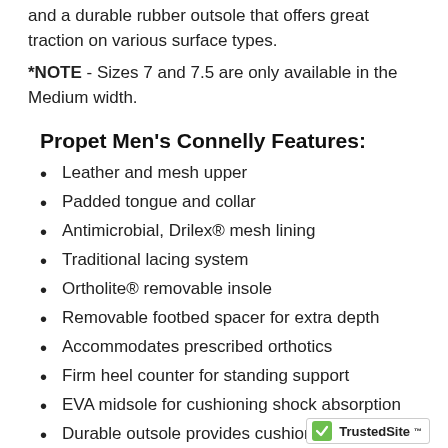and a durable rubber outsole that offers great traction on various surface types.
*NOTE - Sizes 7 and 7.5 are only available in the Medium width.
Propet Men's Connelly Features:
Leather and mesh upper
Padded tongue and collar
Antimicrobial, Drilex® mesh lining
Traditional lacing system
Ortholite® removable insole
Removable footbed spacer for extra depth
Accommodates prescribed orthotics
Firm heel counter for standing support
EVA midsole for cushioning shock absorption
Durable outsole provides cushioning and traction
[Figure (logo): TrustedSite logo with green checkmark]